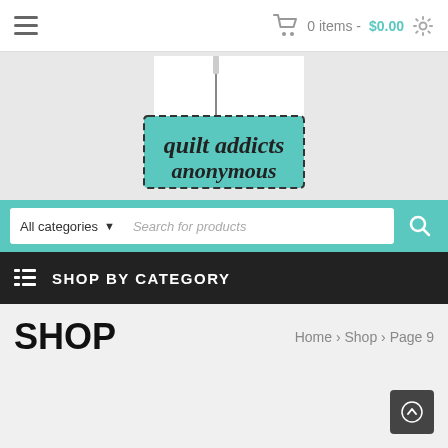0 items - $0.00
[Figure (logo): Quilt Addicts Anonymous logo — needle graphic above a teal rectangle with dashed border containing the text 'quilt addicts anonymous' in script font]
All categories  Search for products
SHOP BY CATEGORY
SHOP
Home › Shop › Page 9